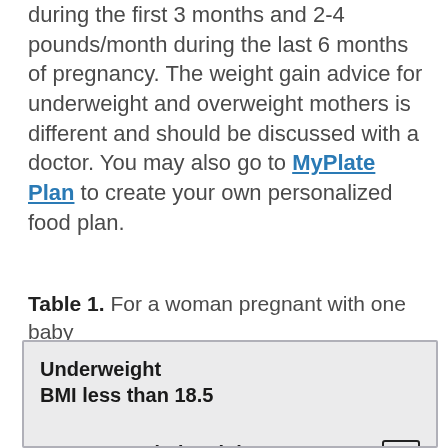during the first 3 months and 2-4 pounds/month during the last 6 months of pregnancy. The weight gain advice for underweight and overweight mothers is different and should be discussed with a doctor. You may also go to MyPlate Plan to create your own personalized food plan.
Table 1. For a woman pregnant with one baby
| Category | Recommended Weight Gain during Pregnancy |
| --- | --- |
| Underweight
BMI less than 18.5 | [+] |